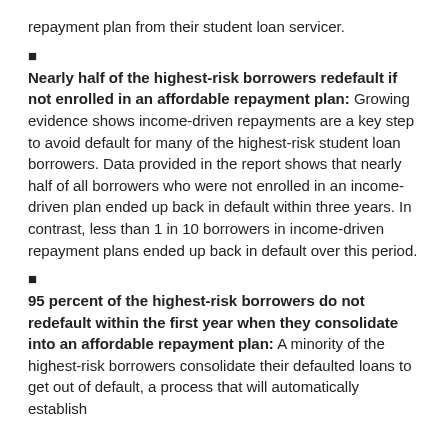repayment plan from their student loan servicer.
■
Nearly half of the highest-risk borrowers redefault if not enrolled in an affordable repayment plan: Growing evidence shows income-driven repayments are a key step to avoid default for many of the highest-risk student loan borrowers. Data provided in the report shows that nearly half of all borrowers who were not enrolled in an income-driven plan ended up back in default within three years. In contrast, less than 1 in 10 borrowers in income-driven repayment plans ended up back in default over this period.
■
95 percent of the highest-risk borrowers do not redefault within the first year when they consolidate into an affordable repayment plan: A minority of the highest-risk borrowers consolidate their defaulted loans to get out of default, a process that will automatically establish